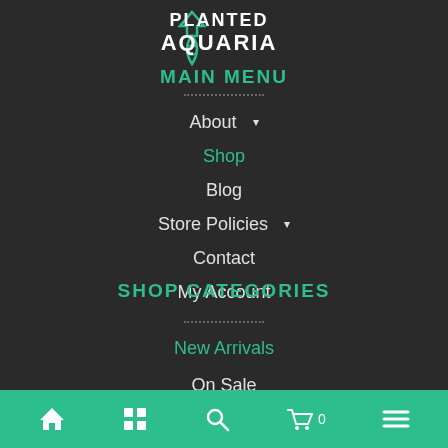[Figure (logo): Planted Aquaria logo with arrow/fish icon and text PLANTED AQUARIA]
MAIN MENU
About ▾
Shop
Blog
Store Policies ▾
Contact
My Account
SHOP CATEGORIES
New Arrivals
On Sale
Home | Grid | Search | Cart 0 | Menu